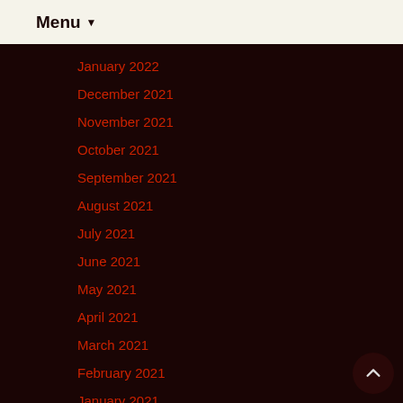Menu ▼
January 2022
December 2021
November 2021
October 2021
September 2021
August 2021
July 2021
June 2021
May 2021
April 2021
March 2021
February 2021
January 2021